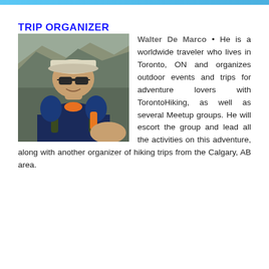TRIP ORGANIZER
[Figure (photo): Photo of Walter De Marco, a man wearing sunglasses and a white cap, with a hiking backpack, standing in front of rocky mountain terrain.]
Walter De Marco • He is a worldwide traveler who lives in Toronto, ON and organizes outdoor events and trips for adventure lovers with TorontoHiking, as well as several Meetup groups. He will escort the group and lead all the activities on this adventure, along with another organizer of hiking trips from the Calgary, AB area.